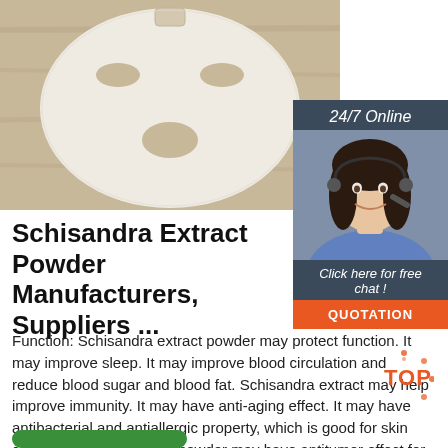[Figure (photo): A white facial sheet mask laid flat on a wooden surface, showing cutouts for eyes and mouth area.]
[Figure (photo): 24/7 Online customer service sidebar with a smiling woman wearing a headset, a 'Click here for free chat!' message, and an orange QUOTATION button.]
Schisandra Extract Powder Manufacturers, Suppliers ...
Function: Schisandra extract powder may protect function. It may improve sleep. It may improve blood circulation and reduce blood sugar and blood fat. Schisandra extract may help improve immunity. It may have anti-aging effect. It may have antibacterial and antiallergic property, which is good for skin care. Schisandra extract powder may have antitumor effect for treatment of leukemia ...